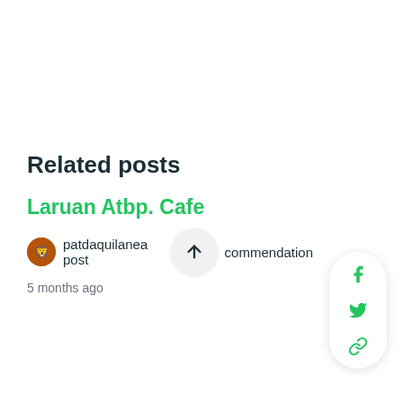[Figure (screenshot): Social share panel with Facebook, Twitter, and link icons in green on a white pill-shaped background]
Related posts
Laruan Atbp. Cafe
patdaquilanea post commendation
5 months ago